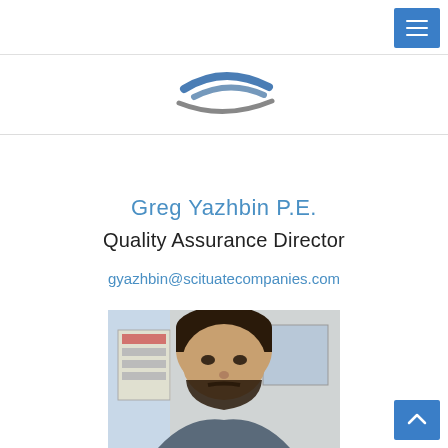[Figure (logo): Partial company logo with wave/swoosh graphic in blue and gray]
Greg Yazhbin P.E.
Quality Assurance Director
gyazhbin@scituatecompanies.com
[Figure (photo): Headshot photo of Greg Yazhbin, a man with dark beard, in an office setting with posters visible in background]